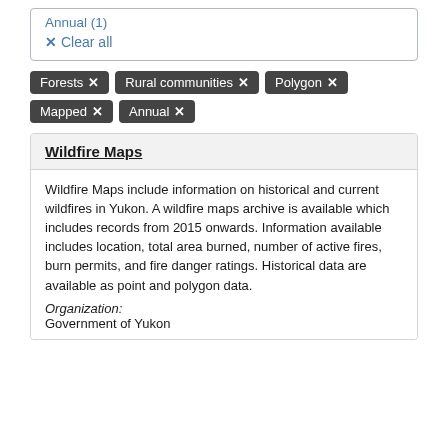Annual (1)
✕ Clear all
Forests ✕
Rural communities ✕
Polygon ✕
Mapped ✕
Annual ✕
Wildfire Maps
Wildfire Maps include information on historical and current wildfires in Yukon. A wildfire maps archive is available which includes records from 2015 onwards. Information available includes location, total area burned, number of active fires, burn permits, and fire danger ratings. Historical data are available as point and polygon data.
Organization:
Government of Yukon